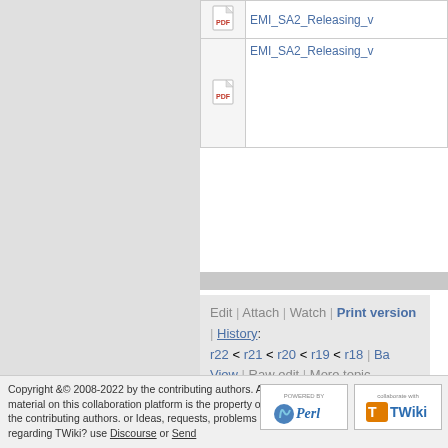[Figure (screenshot): Partial file listing table showing two PDF file icons and truncated filenames EMI_SA2_Releasing_v...]
Edit | Attach | Watch | Print version | History: r22 < r21 < r20 < r19 < r18 | Ba View | Raw edit | More topic actions...
Topic revision: r19 - 2011-07-20 - ... MariaALANDESPRADILLO
Copyright &© 2008-2022 by the contributing authors. All material on this collaboration platform is the property of the contributing authors. or Ideas, requests, problems regarding TWiki? use Discourse or Send feedback